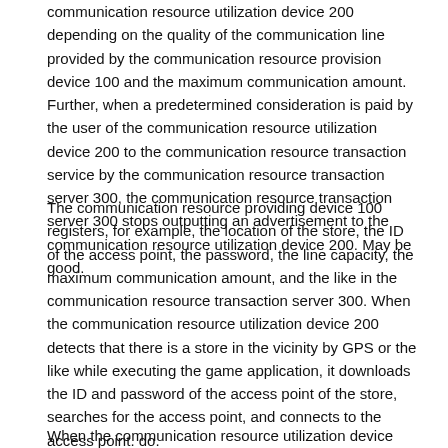communication resource utilization device 200 depending on the quality of the communication line provided by the communication resource provision device 100 and the maximum communication amount. Further, when a predetermined consideration is paid by the user of the communication resource utilization device 200 to the communication resource transaction service by the communication resource transaction server 300, the communication resource transaction server 300 stops outputting an advertisement to the communication resource utilization device 200. May be good.
The communication resource providing device 100 registers, for example, the location of the store, the ID of the access point, the password, the line capacity, the maximum communication amount, and the like in the communication resource transaction server 300. When the communication resource utilization device 200 detects that there is a store in the vicinity by GPS or the like while executing the game application, it downloads the ID and password of the access point of the store, searches for the access point, and connects to the access point. do.
When the communication resource utilization device 200